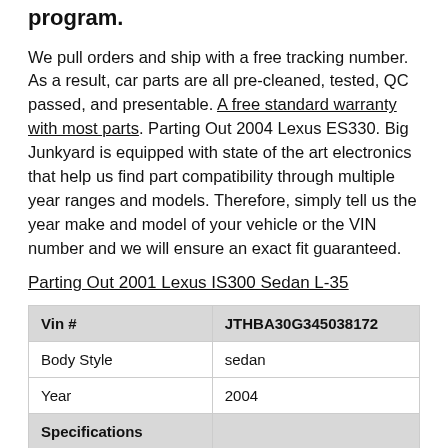program.
We pull orders and ship with a free tracking number. As a result, car parts are all pre-cleaned, tested, QC passed, and presentable. A free standard warranty with most parts. Parting Out 2004 Lexus ES330. Big Junkyard is equipped with state of the art electronics that help us find part compatibility through multiple year ranges and models. Therefore, simply tell us the year make and model of your vehicle or the VIN number and we will ensure an exact fit guaranteed.
Parting Out 2001 Lexus IS300 Sedan L-35
| Vin # | JTHBA30G345038172 |
| --- | --- |
| Body Style | sedan |
| Year | 2004 |
| Specifications |  |
| Exterior Color | BEIGE-4P7 |